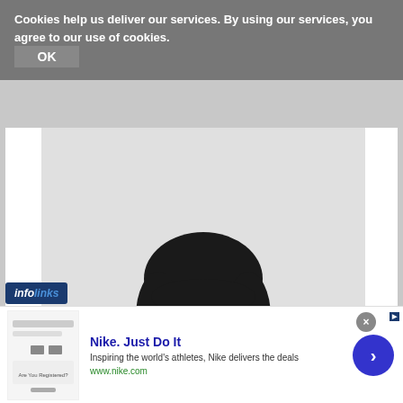Cookies help us deliver our services. By using our services, you agree to our use of cookies. OK
[Figure (photo): A young Asian woman with a short bob haircut, wearing a white top with black floral embroidery, arms crossed, smiling, against a light gray background. Professional portrait photo.]
[Figure (screenshot): Infolinks badge logo in bottom-left corner of the photo area]
[Figure (screenshot): Nike advertisement banner: 'Nike. Just Do It' with tagline 'Inspiring the world's athletes, Nike delivers the deals' and url www.nike.com, with thumbnail image on left and arrow navigation button on right]